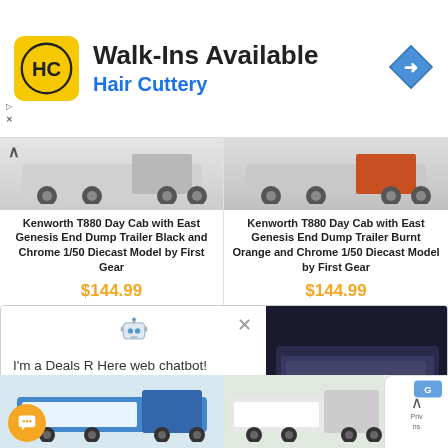[Figure (screenshot): Hair Cuttery advertisement banner with logo, 'Walk-Ins Available' heading, and navigation arrow icon]
[Figure (photo): Kenworth T880 Day Cab with East Genesis End Dump Trailer Black and Chrome diecast model truck - product image]
Kenworth T880 Day Cab with East Genesis End Dump Trailer Black and Chrome 1/50 Diecast Model by First Gear
$144.99
[Figure (photo): Kenworth T880 Day Cab with East Genesis End Dump Trailer Burnt Orange and Chrome diecast model truck - product image]
Kenworth T880 Day Cab with East Genesis End Dump Trailer Burnt Orange and Chrome 1/50 Diecast Model by First Gear
$144.99
[Figure (screenshot): Deals R Here web chatbot popup with robot icon and message 'I'm a Deals R Here web chatbot!' with a dark truck image on the right]
[Figure (photo): Blue Kenworth truck with white trailer - product thumbnail at bottom left]
[Figure (photo): White Kenworth truck - product thumbnail at bottom right]
[Figure (logo): Yellow chat bubble FAB button icon at bottom left]
[Figure (logo): Google Maps privacy/navigation badge at bottom right]